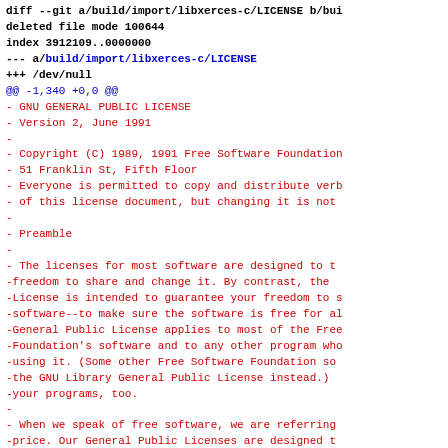diff --git a/build/import/libxerces-c/LICENSE b/build/import/libxerces-c/LICENSE
deleted file mode 100644
index 3912109..0000000
--- a/build/import/libxerces-c/LICENSE
+++ /dev/null
@@ -1,340 +0,0 @@
-                    GNU GENERAL PUBLIC LICENSE
-                       Version 2, June 1991
-
- Copyright (C) 1989, 1991 Free Software Foundation
-                           51 Franklin St, Fifth Floor
- Everyone is permitted to copy and distribute verbatim copies
- of this license document, but changing it is not
-
-                            Preamble
-
-  The licenses for most software are designed to take
-freedom to share and change it.  By contrast, the
-License is intended to guarantee your freedom to share
-software--to make sure the software is free for all
-General Public License applies to most of the Free
-Foundation's software and to any other program whose
-using it.  (Some other Free Software Foundation software
-the GNU Library General Public License instead.)
-your programs, too.
-
-  When we speak of free software, we are referring
-price.  Our General Public Licenses are designed to
-have the freedom to distribute copies of free software
-this service if you wish), that you receive source